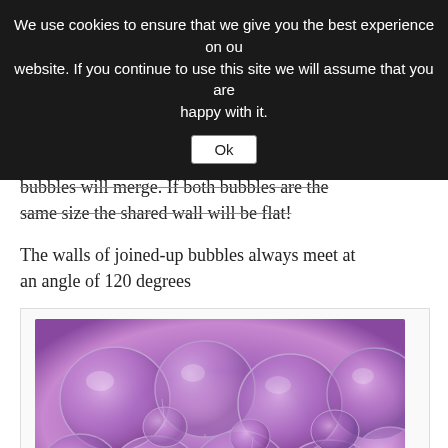We use cookies to ensure that we give you the best experience on our website. If you continue to use this site we will assume that you are happy with it.
their sphere shape — the walls of the touching bubbles will merge. If both bubbles are the same size the shared wall will be flat!
The walls of joined-up bubbles always meet at an angle of 120 degrees
[Figure (photo): Close-up photograph of multiple soap bubbles clustered together, showing purple/pink iridescent surfaces with hexagonal meeting patterns at 120-degree angles]
photo credit: kaibara87 via photopin cc